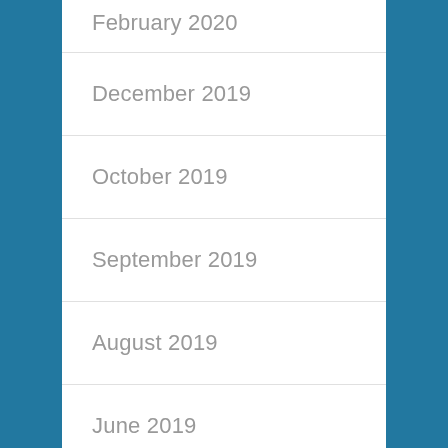February 2020
December 2019
October 2019
September 2019
August 2019
June 2019
May 2019
April 2019